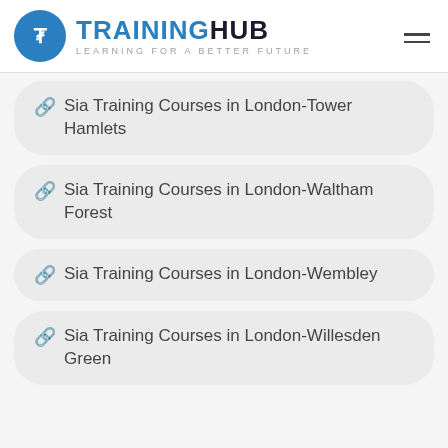TRAININGHUB — LEARNING FOR A BETTER FUTURE
Sia Training Courses in London-Tower Hamlets
Sia Training Courses in London-Waltham Forest
Sia Training Courses in London-Wembley
Sia Training Courses in London-Willesden Green